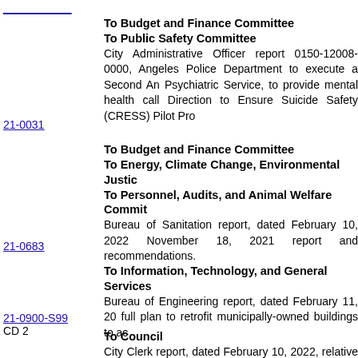To Budget and Finance Committee
To Public Safety Committee
City Administrative Officer report 0150-12008-0000, Angeles Police Department to execute a Second An Psychiatric Service, to provide mental health call Direction to Ensure Suicide Safety (CRESS) Pilot Pro
21-0031
To Budget and Finance Committee
To Energy, Climate Change, Environmental Justic
To Personnel, Audits, and Animal Welfare Commit
Bureau of Sanitation report, dated February 10, 2022 November 18, 2021 report and recommendations.
21-0683
To Information, Technology, and General Services
Bureau of Engineering report, dated February 11, 20 full plan to retrofit municipally-owned buildings to ac
21-0900-S99
CD 2
To Council
City Clerk report, dated February 10, 2022, relative to